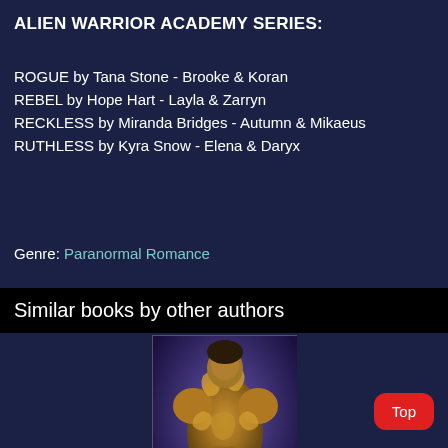ALIEN WARRIOR ACADEMY SERIES:
ROGUE by Tana Stone - Brooke & Koran
REBEL by Hope Hart - Layla & Zarryn
RECKLESS by Miranda Bridges - Autumn & Mikaeus
RUTHLESS by Kyra Snow - Elena & Daryx
Genre: Paranormal Romance
Similar books by other authors
[Figure (illustration): Book cover of ROGUE showing a muscular shirtless male figure with golden tribal tattoos against a purple alien background, with the title ROGUE at the bottom.]
Top